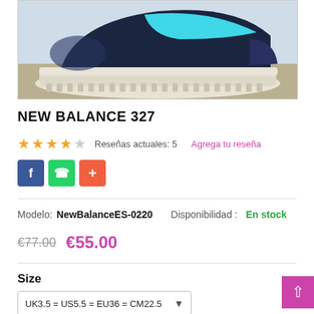[Figure (photo): Close-up photo of a New Balance 327 sneaker showing navy, teal/cyan, and cream/beige colorway with chunky sole]
NEW BALANCE 327
★★★★☆ Reseñas actuales: 5  Agrega tu reseña
Facebook, WhatsApp, + social share buttons
Modelo: NewBalanceES-0220   Disponibilidad: En stock
€77.00  €55.00
Size
UK3.5 = US5.5 = EU36 = CM22.5